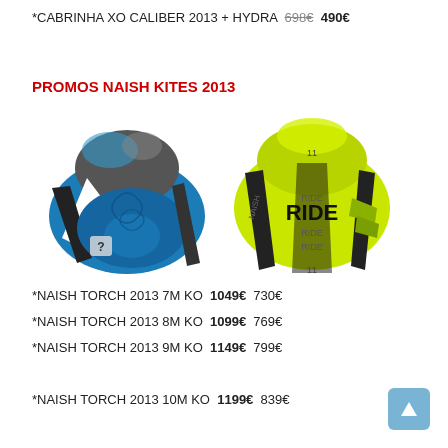*CABRINHA XO CALIBER 2013 + HYDRA  698€  490€
PROMOS NAISH KITES 2013
[Figure (photo): Two Naish 2013 kites side by side: a blue/grey patterned kite on the left and a neon yellow/black RIDE kite on the right]
*NAISH TORCH 2013 7M KO  1049€  730€
*NAISH TORCH 2013 8M KO  1099€  769€
*NAISH TORCH 2013 9M KO  1149€  799€
*NAISH TORCH 2013 10M KO  1199€  839€